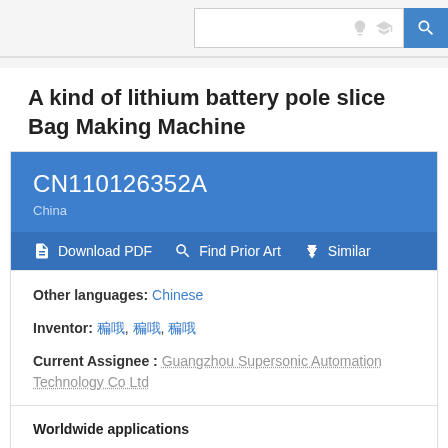Search bar with lightbulb icon, graduation cap icon, and search button
A kind of lithium battery pole slice Bag Making Machine
CN110126352A
China
Download PDF  Find Prior Art  Similar
Other languages: Chinese
Inventor: 刘哲, 刘哲, 刘哲
Current Assignee: Guangzhou Supersonic Automation Technology Co Ltd
Worldwide applications